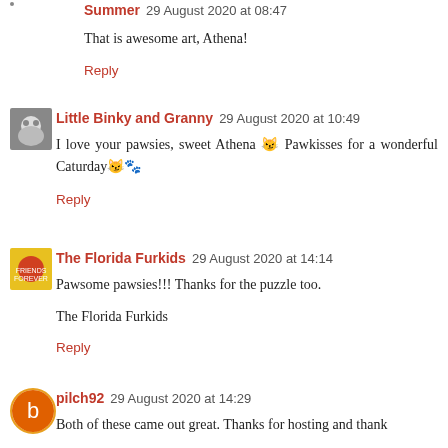Summer 29 August 2020 at 08:47
That is awesome art, Athena!
Reply
Little Binky and Granny 29 August 2020 at 10:49
I love your pawsies, sweet Athena 🐱 Pawkisses for a wonderful Caturday🐱🐾
Reply
The Florida Furkids 29 August 2020 at 14:14
Pawsome pawsies!!! Thanks for the puzzle too.
The Florida Furkids
Reply
pilch92 29 August 2020 at 14:29
Both of these came out great. Thanks for hosting and thank